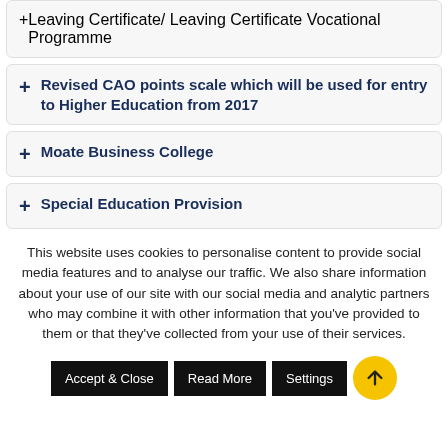+ Leaving Certificate/ Leaving Certificate Vocational Programme
+ Revised CAO points scale which will be used for entry to Higher Education from 2017
+ Moate Business College
+ Special Education Provision
This website uses cookies to personalise content to provide social media features and to analyse our traffic. We also share information about your use of our site with our social media and analytic partners who may combine it with other information that you've provided to them or that they've collected from your use of their services.
Accept & Close | Read More | Settings